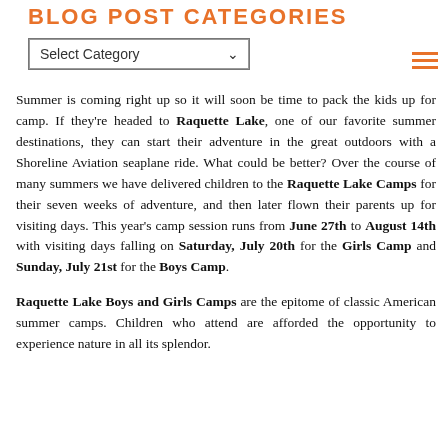BLOG POST CATEGORIES
Summer is coming right up so it will soon be time to pack the kids up for camp. If they're headed to Raquette Lake, one of our favorite summer destinations, they can start their adventure in the great outdoors with a Shoreline Aviation seaplane ride. What could be better? Over the course of many summers we have delivered children to the Raquette Lake Camps for their seven weeks of adventure, and then later flown their parents up for visiting days. This year's camp session runs from June 27th to August 14th with visiting days falling on Saturday, July 20th for the Girls Camp and Sunday, July 21st for the Boys Camp.
Raquette Lake Boys and Girls Camps are the epitome of classic American summer camps. Children who attend are afforded the opportunity to experience nature in all its splendor.